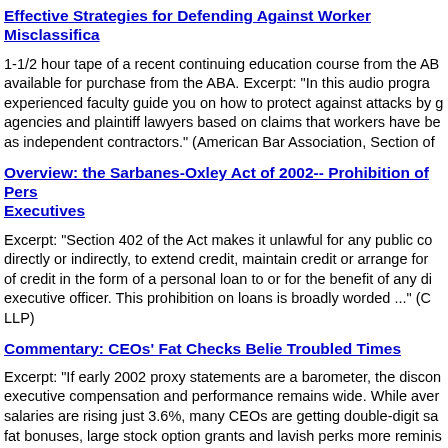Effective Strategies for Defending Against Worker Misclassifica...
1-1/2 hour tape of a recent continuing education course from the AB... available for purchase from the ABA. Excerpt: "In this audio progra... experienced faculty guide you on how to protect against attacks by g... agencies and plaintiff lawyers based on claims that workers have be... as independent contractors." (American Bar Association, Section of ...
Overview: the Sarbanes-Oxley Act of 2002-- Prohibition of Pers... Executives
Excerpt: "Section 402 of the Act makes it unlawful for any public co... directly or indirectly, to extend credit, maintain credit or arrange for... of credit in the form of a personal loan to or for the benefit of any di... executive officer. This prohibition on loans is broadly worded ..." (C... LLP)
Commentary: CEOs' Fat Checks Belie Troubled Times
Excerpt: "If early 2002 proxy statements are a barometer, the discon... executive compensation and performance remains wide. While aver... salaries are rising just 3.6%, many CEOs are getting double-digit sa... fat bonuses, large stock option grants and lavish perks more reminis... market 1990s than a 30-month-long bear market, according to a USA... analysis ..." (USA Today via Yahoo! News)
Federal Pension, Health Legislation Probably Will Fall Victim to...
Excerpt: "With Congress trying to wrap up its work and go home to...